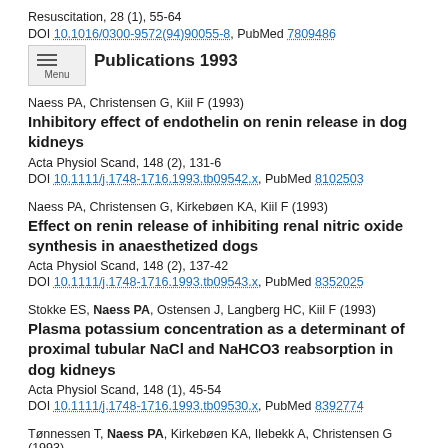Resuscitation, 28 (1), 55-64
DOI 10.1016/0300-9572(94)90055-8, PubMed 7809486
Publications 1993
Naess PA, Christensen G, Kiil F (1993)
Inhibitory effect of endothelin on renin release in dog kidneys
Acta Physiol Scand, 148 (2), 131-6
DOI 10.1111/j.1748-1716.1993.tb09542.x, PubMed 8102503
Naess PA, Christensen G, Kirkebøen KA, Kiil F (1993)
Effect on renin release of inhibiting renal nitric oxide synthesis in anaesthetized dogs
Acta Physiol Scand, 148 (2), 137-42
DOI 10.1111/j.1748-1716.1993.tb09543.x, PubMed 8352025
Stokke ES, Naess PA, Ostensen J, Langberg HC, Kiil F (1993)
Plasma potassium concentration as a determinant of proximal tubular NaCl and NaHCO3 reabsorption in dog kidneys
Acta Physiol Scand, 148 (1), 45-54
DOI 10.1111/j.1748-1716.1993.tb09530.x, PubMed 8392774
Tønnessen T, Naess PA, Kirkebøen KA, Ilebekk A, Christensen G (1993)
Alterations in plasma endothelin during re...